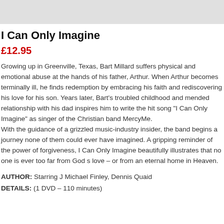[Figure (other): Grey banner/header bar at top of page]
I Can Only Imagine
£12.95
Growing up in Greenville, Texas, Bart Millard suffers physical and emotional abuse at the hands of his father, Arthur. When Arthur becomes terminally ill, he finds redemption by embracing his faith and rediscovering his love for his son. Years later, Bart's troubled childhood and mended relationship with his dad inspires him to write the hit song "I Can Only Imagine" as singer of the Christian band MercyMe. With the guidance of a grizzled music-industry insider, the band begins a journey none of them could ever have imagined. A gripping reminder of the power of forgiveness, I Can Only Imagine beautifully illustrates that no one is ever too far from God s love – or from an eternal home in Heaven.
AUTHOR: Starring J Michael Finley, Dennis Quaid
DETAILS: (1 DVD – 110 minutes)